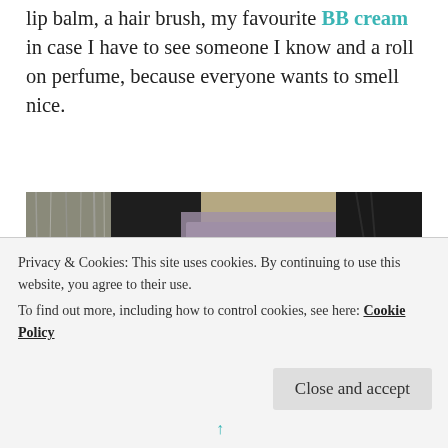lip balm, a hair brush, my favourite BB cream in case I have to see someone I know and a roll on perfume, because everyone wants to smell nice.
[Figure (photo): Photo of clothing items laid out on a surface — includes a black puffer jacket, faux fur item, mauve/purple top, white fabric, and a black handbag with gold hardware.]
Privacy & Cookies: This site uses cookies. By continuing to use this website, you agree to their use.
To find out more, including how to control cookies, see here: Cookie Policy
Close and accept